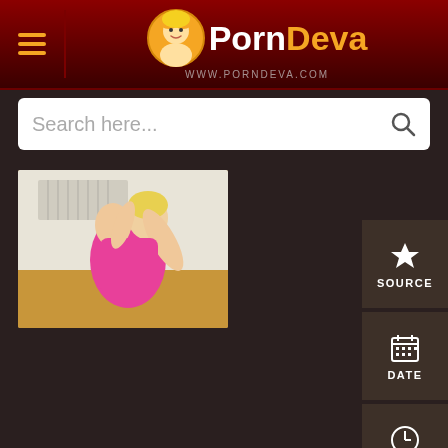PornDeva www.porndeva.com
Search here...
[Figure (photo): Thumbnail of a woman in a pink outfit doing a flexible pose on a wooden floor]
SOURCE
DATE
DURATION
GOUP